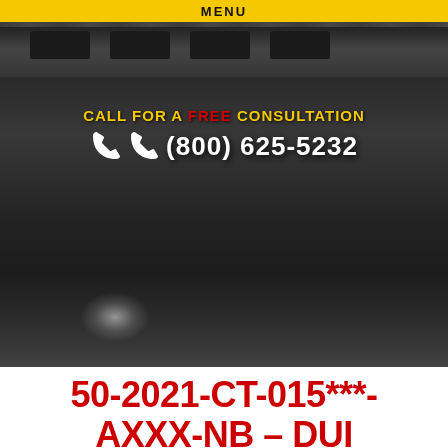MENU
[Figure (photo): Black and white photograph of police car(s) with light bars on top, showing windshield and front hood area]
CALL FOR A FREE CONSULTATION
(800) 625-5232
50-2021-CT-015***-AXXX-NB – DUI